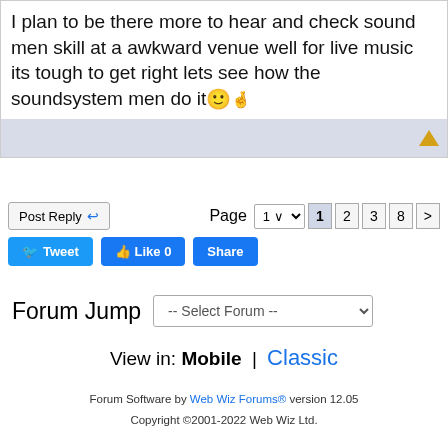I plan to be there more to hear and check sound men skill at a awkward venue well for live music its tough to get right lets see how the soundsystem men do it 🙂🤞
Post Reply | Page 1 2 3 8 >
Tweet | Like 0 | Share
Forum Jump -- Select Forum --
View in: Mobile | Classic
Forum Software by Web Wiz Forums® version 12.05
Copyright ©2001-2022 Web Wiz Ltd.